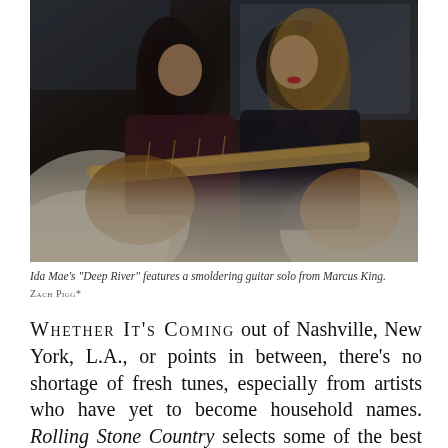[Figure (photo): Two musicians sitting in the back seat of a car holding guitars. A young man with long dark hair on the left and a woman with long blonde hair wearing a dark outfit on the right. They are lit dramatically against a dark interior.]
Ida Mae's "Deep River" features a smoldering guitar solo from Marcus King.  ZACH PIGG*
WHETHER IT'S COMING out of Nashville, New York, L.A., or points in between, there's no shortage of fresh tunes, especially from artists who have yet to become household names. Rolling Stone Country selects some of the best new music releases from country and Americana artists.